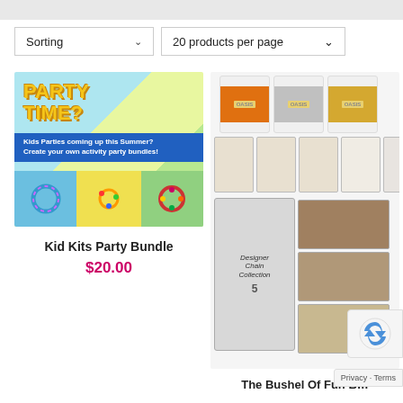Sorting
20 products per page
[Figure (photo): Party Time banner with kids craft bracelet activity kits]
Kid Kits Party Bundle
$20.00
[Figure (photo): The Bushel Of Fun craft jewelry and chain supply bundle with spools, jewelry packs and chain collection]
The Bushel Of Fun B…